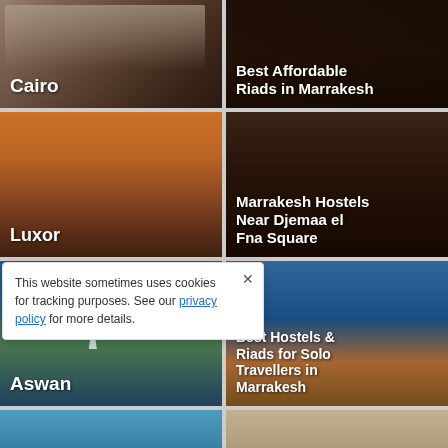[Figure (photo): Cairo travel destination photo with market/bazaar scene]
[Figure (photo): Best Affordable Riads in Marrakesh — dark alleyway photo]
[Figure (photo): Luxor travel destination photo with ruins and palm trees at sunset]
[Figure (photo): Marrakesh Hostels Near Djemaa el Fna Square — dark medina alley]
[Figure (photo): Aswan travel destination photo with Nile river, palm trees, sailboat]
[Figure (photo): Best Hostels & Riads for Solo Travellers in Marrakesh — tower/minaret photo]
[Figure (photo): Partial photo of Dalat or similar destination with blue sky and ruins]
[Figure (photo): The Best Hostels in Imlil, Morocco and the Atlas Mountains — passport stamp background]
This website sometimes uses cookies for tracking purposes. See our privacy policy for more details.